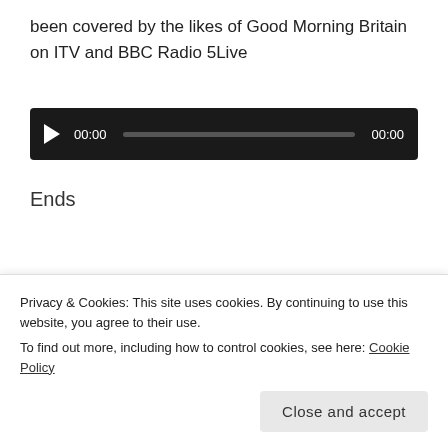been covered by the likes of Good Morning Britain on ITV and BBC Radio 5Live
[Figure (other): Audio player with play button, time display 00:00, progress bar, and end time 00:00 on black background]
Ends
Share this:
[Figure (other): Share buttons: Twitter (blue circle), Facebook (blue circle), More button with share icon]
Privacy & Cookies: This site uses cookies. By continuing to use this website, you agree to their use.
To find out more, including how to control cookies, see here: Cookie Policy
Close and accept